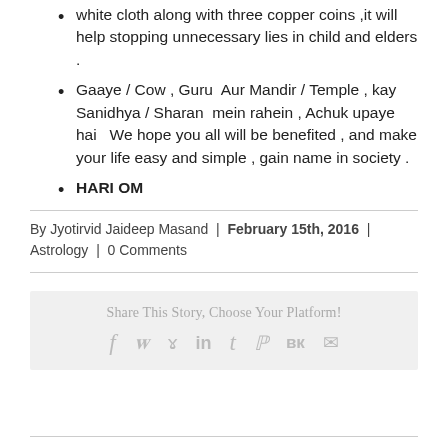white cloth along with three copper coins ,it will help stopping unnecessary lies in child and elders .
Gaaye / Cow , Guru  Aur Mandir / Temple , kay Sanidhya / Sharan  mein rahein , Achuk upaye hai  We hope you all will be benefited , and make your life easy and simple , gain name in society .
HARI OM
By Jyotirvid Jaideep Masand  |  February 15th, 2016  |  Astrology  |  0 Comments
Share This Story, Choose Your Platform!
[Figure (infographic): Social sharing icons: Facebook, Twitter, Reddit, LinkedIn, Tumblr, Pinterest, VK, Email]